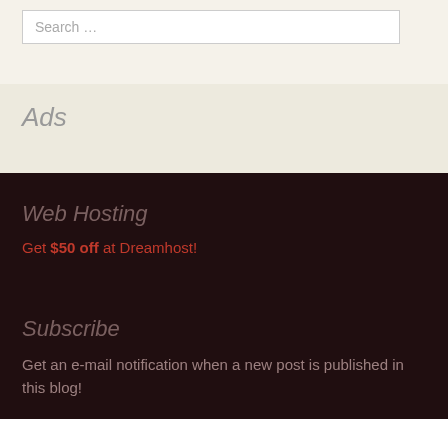Search …
Ads
Web Hosting
Get $50 off at Dreamhost!
Subscribe
Get an e-mail notification when a new post is published in this blog!